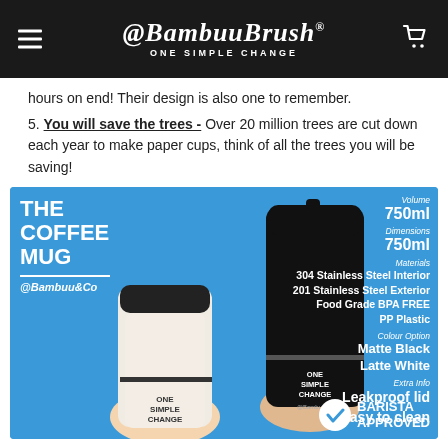@BambuuBrush® ONE SIMPLE CHANGE
hours on end! Their design is also one to remember.
5. You will save the trees - Over 20 million trees are cut down each year to make paper cups, think of all the trees you will be saving!
[Figure (photo): Product photo of The Coffee Mug by @Bambuu&Co. Two travel mugs (one latte white, one matte black) both branded 'One Simple Change' held in hands against a blue background. Specs listed: Volume 750ml, Dimensions 750ml, Materials 304 Stainless Steel Interior, 201 Stainless Steel Exterior, Food Grade BPA FREE PP Plastic, Colour Option: Matte Black / Latte White, Extra Info: Leakproof lid / Easy to clean. Barista Approved badge in bottom right.]